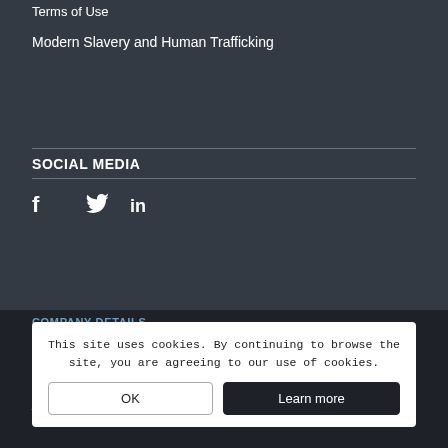Terms of Use
Modern Slavery and Human Trafficking
SOCIAL MEDIA
[Figure (other): Social media icons: Facebook (f), Twitter (bird), LinkedIn (in)]
COMPANY DETAILS
City and County Healthcare Group Ltd
Registered Office: Abbeyfield Court, Abbeyfield Road, Nottingham, NG7 2SZ
This site uses cookies. By continuing to browse the site, you are agreeing to our use of cookies.